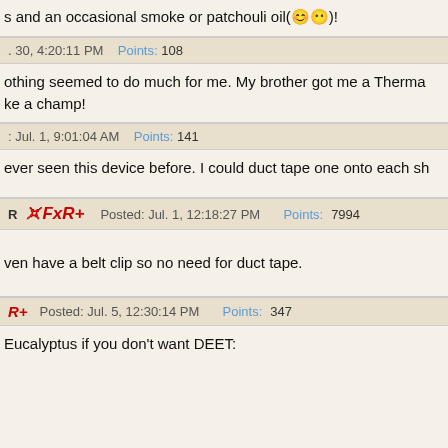s and an occasional smoke or patchouli oil(☺️)!
30, 4:20:11 PM   Points: 108
othing seemed to do much for me. My brother got me a Therma ke a champ!
: Jul. 1, 9:01:04 AM   Points: 141
ever seen this device before. I could duct tape one onto each sh
Posted: Jul. 1, 12:18:27 PM   Points: 7994
ven have a belt clip so no need for duct tape.
Posted: Jul. 5, 12:30:14 PM   Points: 347
Eucalyptus if you don't want DEET: